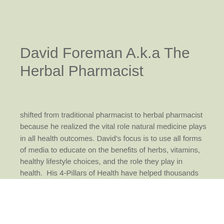David Foreman A.k.a The Herbal Pharmacist
shifted from traditional pharmacist to herbal pharmacist because he realized the vital role natural medicine plays in all health outcomes. David’s focus is to use all forms of media to educate on the benefits of herbs, vitamins, healthy lifestyle choices, and the role they play in health.  His 4-Pillars of Health have helped thousands achieve the health they seek.
Health Tips